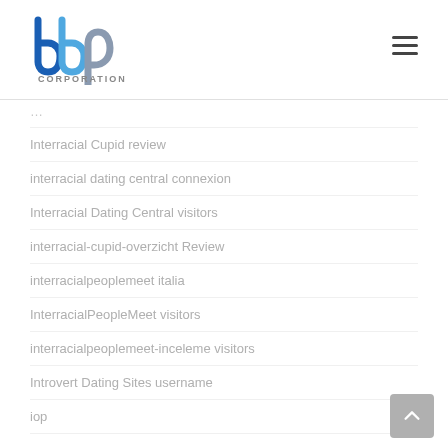[Figure (logo): BBP Corporation logo with blue and grey stylized letters and 'CORPORATION' text below]
Interracial Cupid review
interracial dating central connexion
Interracial Dating Central visitors
interracial-cupid-overzicht Review
interracialpeoplemeet italia
InterracialPeopleMeet visitors
interracialpeoplemeet-inceleme visitors
Introvert Dating Sites username
iop